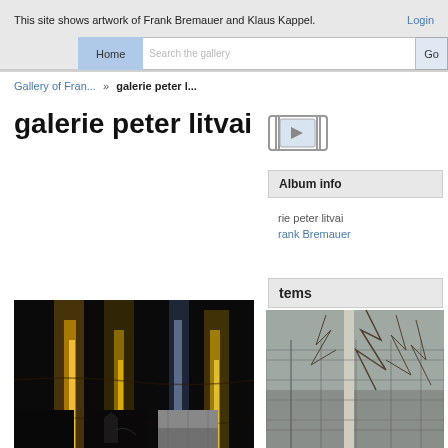This site shows artwork of Frank Bremauer and Klaus Kappel.
Login
Home  Search the gallery  Go
Gallery of Fran... » galerie peter l...
galerie peter litvai
[Figure (other): Slideshow play button icon]
Album info
rie peter litvai
rank Bremauer
tems
[Figure (photo): Night reflection of lights on water, colorful golden and blue reflections]
[Figure (photo): Outdoor scene with fence post and trees/wire mesh in background]
[Figure (photo): Small dark thumbnail image 1]
[Figure (photo): Small dark thumbnail image 2 with silhouette]
[Figure (photo): Small thumbnail image 3]